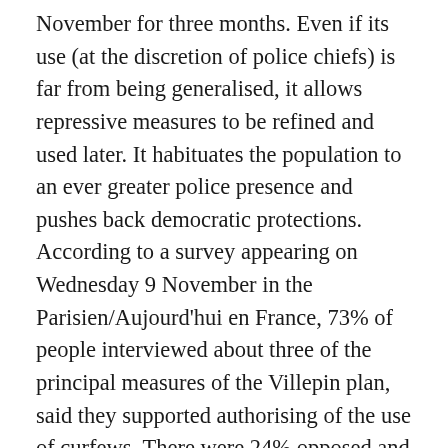November for three months. Even if its use (at the discretion of police chiefs) is far from being generalised, it allows repressive measures to be refined and used later. It habituates the population to an ever greater police presence and pushes back democratic protections. According to a survey appearing on Wednesday 9 November in the Parisien/Aujourd'hui en France, 73% of people interviewed about three of the principal measures of the Villepin plan, said they supported authorising of the use of curfews. There were 24% opposed and 3% didn't say. In response to the question "What is your attitude to what is happening in the suburbs at the moment?", 58% said they were "scandalised" – the rate amongst the inhabitants of the suburbs was 60%. 28% said they were "upset" (25 % for the inhabitants of the suburbs), 13%...